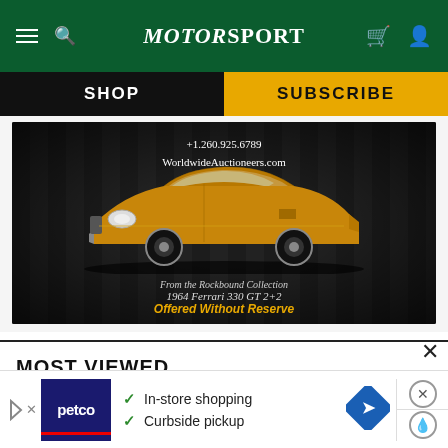MotorSport
SHOP
SUBSCRIBE
[Figure (photo): Gold 1964 Ferrari 330 GT 2+2 on dark striped background with text: +1.260.925.6789, WorldwideAuctioneers.com, From the Rockbound Collection, 1964 Ferrari 330 GT 2+2, Offered Without Reserve]
MOST VIEWED
[Figure (screenshot): Petco advertisement banner with checkmarks for In-store shopping and Curbside pickup, blue diamond road sign icon, close and fire drop icons]